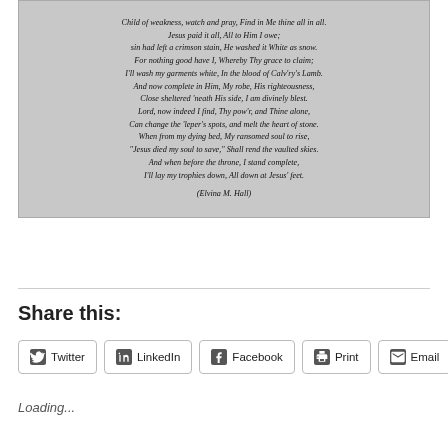[Figure (illustration): A poem on a textured gray background in italic serif font. Text reads: Child of weakness, watch and pray, Find in Me thine all in all. Jesus paid it all, All to Him I owe; sin had left a crimson stain, He washed it White as snow. For nothing good have I, Whereby Thy grace to claim; I'll wash my garments white, In the blood of Calv'ry's Lamb. And now complete in Him, My robe, His righteousness, Close sheltered 'neath His side, I am divinely blest. Lord, now indeed I find, Thy pow'r, and Thine alone, Can change the 'leper's spots, and melt the heart of stone. When from my dying bed, My ransomed soul to rise, 'Jesus died my soul to save,' Shall rend the vaulted skies. And when before the throne, I stand complete, I'll lay my trophies down, All down at Jesus' feet. (Elvina M. Hall)]
Share this:
Twitter | LinkedIn | Facebook | Print | Email
Loading...